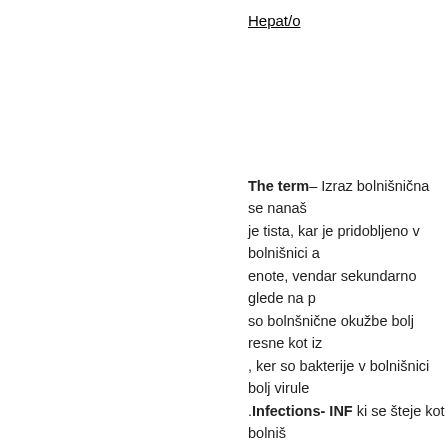Hepat/o
The term– Izraz bolnišnična se nanaša je tista, kar je pridobljeno v bolnišnici a enote, vendar sekundarno glede na p so bolnšnične okužbe bolj resne kot iz , ker so bakterije v bolnišnici bolj virule .Infections- INF ki se šteje kot bolniš bolnišničnem sprejemu ali v 30 dnevih grške besede nosokomeran ki pomen skrbeti). Ta tip INF je prav tako pozna j generično zdravstveno negovalno po : se prenašajo zaradi dejstva, da je v b bolni in njihov imunski sistem je pogos ambulantnega zdravljenje pomeni, da imajo bolj čibak imunski sistemk, kot